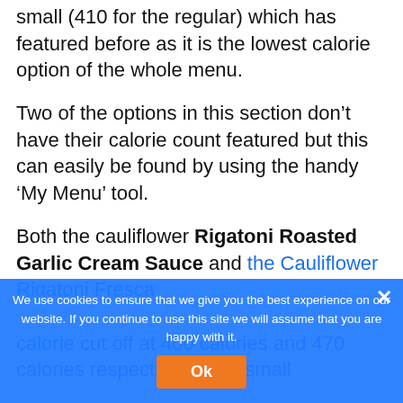small (410 for the regular) which has featured before as it is the lowest calorie option of the whole menu.
Two of the options in this section don't have their calorie count featured but this can easily be found by using the handy 'My Menu' tool.
Both the cauliflower Rigatoni Roasted Garlic Cream Sauce and the Cauliflower Rigatoni Fresca [partially visible] calorie cut off at 400 calories and 470 calories respectively for a small
We use cookies to ensure that we give you the best experience on our website. If you continue to use this site we will assume that you are happy with it.